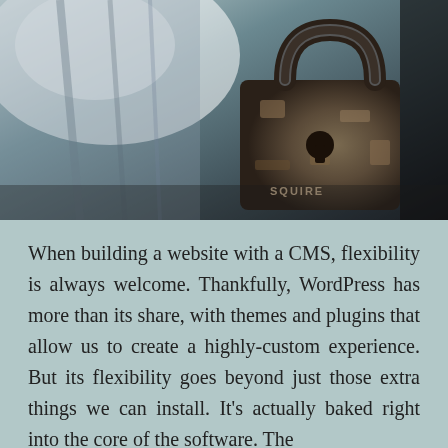[Figure (photo): Close-up photo of a rusty old padlock (Squire brand) with a metal latch, showing worn and weathered texture, with a bright light source in the upper left background.]
When building a website with a CMS, flexibility is always welcome. Thankfully, WordPress has more than its share, with themes and plugins that allow us to create a highly-custom experience. But its flexibility goes beyond just those extra things we can install. It's actually baked right into the core of the software. The